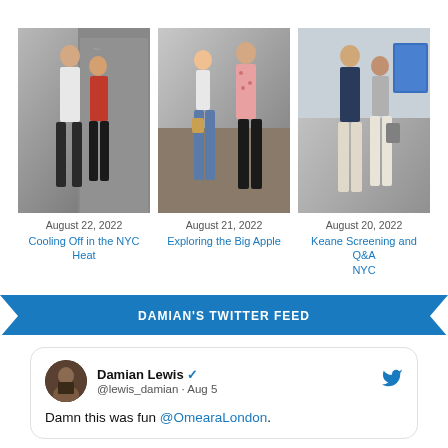[Figure (photo): Two people standing outside near a door, NYC street scene]
August 22, 2022
Cooling Off in the NYC Heat
[Figure (photo): Couple walking on street, woman in white top and jeans, man in floral shirt]
August 21, 2022
Exploring the Big Apple
[Figure (photo): Couple posing at what appears to be an airport or indoor venue]
August 20, 2022
Keane Screening and Q&A NYC
DAMIAN'S TWITTER FEED
Damian Lewis @lewis_damian · Aug 5
Damn this was fun @OmearaLondon.